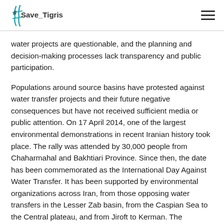#Save_Tigris
water projects are questionable, and the planning and decision-making processes lack transparency and public participation.
Populations around source basins have protested against water transfer projects and their future negative consequences but have not received sufficient media or public attention. On 17 April 2014, one of the largest environmental demonstrations in recent Iranian history took place. The rally was attended by 30,000 people from Chaharmahal and Bakhtiari Province. Since then, the date has been commemorated as the International Day Against Water Transfer. It has been supported by environmental organizations across Iran, from those opposing water transfers in the Lesser Zab basin, from the Caspian Sea to the Central plateau, and from Jiroft to Kerman. The International Day Against Water Transfer is